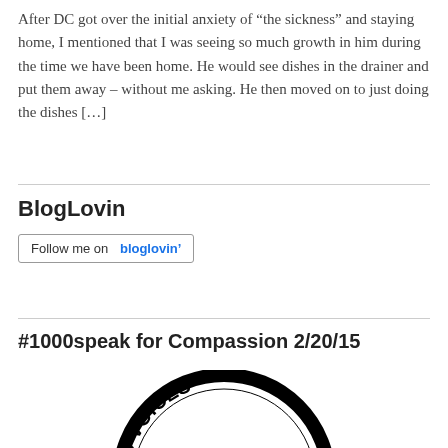After DC got over the initial anxiety of “the sickness” and staying home, I mentioned that I was seeing so much growth in him during the time we have been home. He would see dishes in the drainer and put them away – without me asking. He then moved on to just doing the dishes […]
BlogLovin
[Figure (other): Follow me on bloglovin' button widget]
#1000speak for Compassion 2/20/15
[Figure (logo): 1000 Voices circular logo with crowd illustration and text '1000 VOICES' around the border]